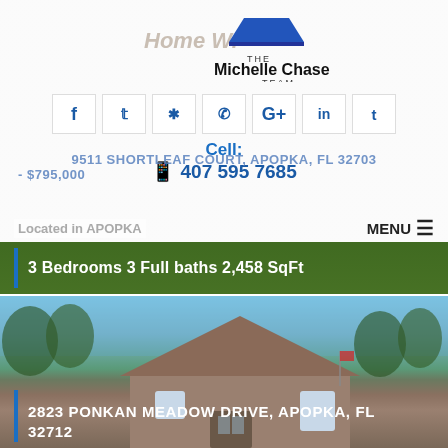[Figure (logo): The Michelle Chase Team logo with house/roof icon]
[Figure (infographic): Social media icon buttons: Facebook, Twitter, Yelp, Phone, Google+, LinkedIn, Tumblr]
Cell: 407 595 7685
9511 SHORTLEAF COURT, APOPKA, FL 32703 - $795,000
Located in APOPKA
MENU
3 Bedrooms 3 Full baths 2,458 SqFt
[Figure (photo): Exterior photo of a house at 2823 Ponkan Meadow Drive, Apopka FL 32712, showing roof and trees against blue sky]
2823 PONKAN MEADOW DRIVE, APOPKA, FL 32712